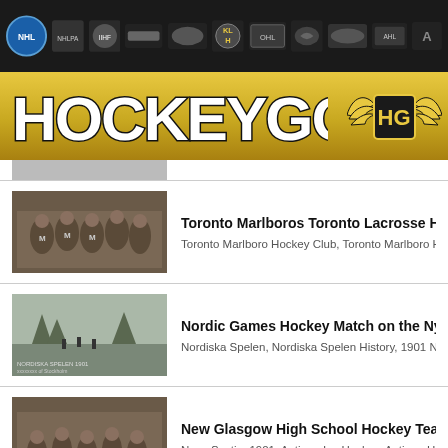[Figure (screenshot): HockeyGods website screenshot showing navigation bar with league logos, gold banner with HOCKEYGODS branding, and list of hockey photo articles]
HOCKEY GODS
Toronto Marlboros Toronto Lacrosse Hockey League C
Toronto Marlboro Hockey Club, Toronto Marlboro Hoc
Nordic Games Hockey Match on the Nybroviken 1901
Nordiska Spelen, Nordiska Spelen History, 1901 Nordi
New Glasgow High School Hockey Team 1901 School D
Nova Scotia, 1901, Antique Ice Hockey, Antique Hocke
ACC Hockey Team in front of Villa de Lion in Dawson C
1901, Dawson City Nuggets, Dawson, Antique Ice Hoo